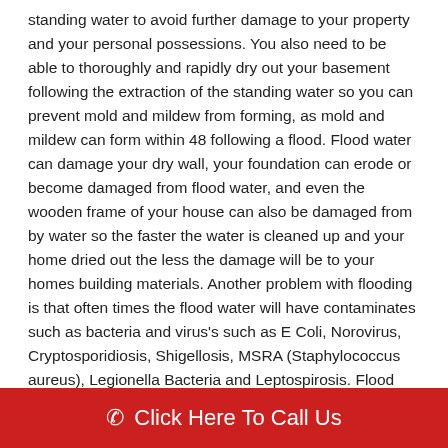standing water to avoid further damage to your property and your personal possessions. You also need to be able to thoroughly and rapidly dry out your basement following the extraction of the standing water so you can prevent mold and mildew from forming, as mold and mildew can form within 48 following a flood. Flood water can damage your dry wall, your foundation can erode or become damaged from flood water, and even the wooden frame of your house can also be damaged from by water so the faster the water is cleaned up and your home dried out the less the damage will be to your homes building materials. Another problem with flooding is that often times the flood water will have contaminates such as bacteria and virus's such as E Coli, Norovirus, Cryptosporidiosis, Shigellosis, MSRA (Staphylococcus aureus), Legionella Bacteria and Leptospirosis. Flood water can also contain parasites, protozoans and worms such as Giardiasis and Helminths. Needless to say all of
Click Here To Call Us